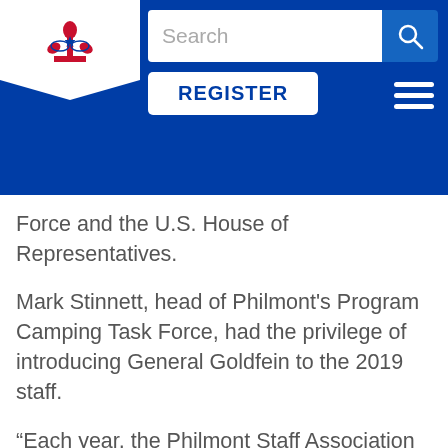[Figure (logo): Boy Scouts of America fleur-de-lis logo in red, white, and blue on a white shield/banner shape]
Search | REGISTER
Force and the U.S. House of Representatives.
Mark Stinnett, head of Philmont's Program Camping Task Force, had the privilege of introducing General Goldfein to the 2019 staff.
“Each year, the Philmont Staff Association selects a former member as a recipient of our Distinguished Alumni Staff Award,” he said.